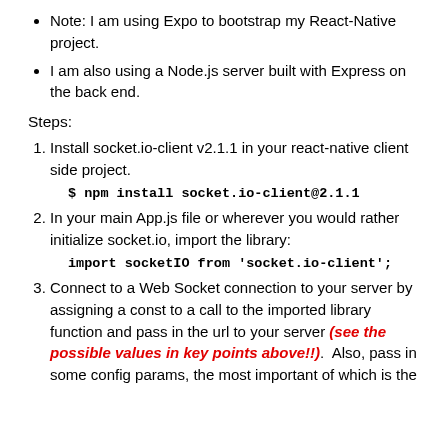Note: I am using Expo to bootstrap my React-Native project.
I am also using a Node.js server built with Express on the back end.
Steps:
1. Install socket.io-client v2.1.1 in your react-native client side project.
$ npm install socket.io-client@2.1.1
2. In your main App.js file or wherever you would rather initialize socket.io, import the library:
import socketIO from 'socket.io-client';
3. Connect to a Web Socket connection to your server by assigning a const to a call to the imported library function and pass in the url to your server (see the possible values in key points above!!).  Also, pass in some config params, the most important of which is the